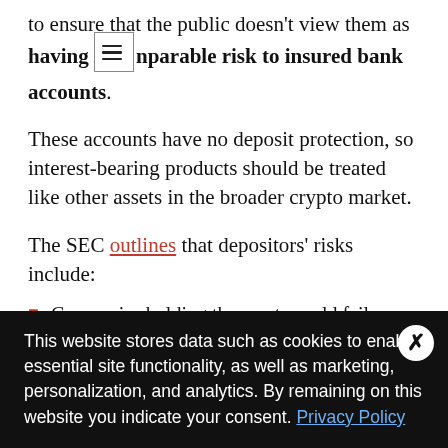to ensure that the public doesn't view them as having comparable risk to insured bank accounts.
These accounts have no deposit protection, so interest-bearing products should be treated like other assets in the broader crypto market.
The SEC outlines that depositors' risks include:
Companies holding the assets could fail.
Deposits could be subject to fraud and hacking.
Particular cryptos can lose tradeability if their markets
This website stores data such as cookies to enable essential site functionality, as well as marketing, personalization, and analytics. By remaining on this website you indicate your consent. Privacy Policy